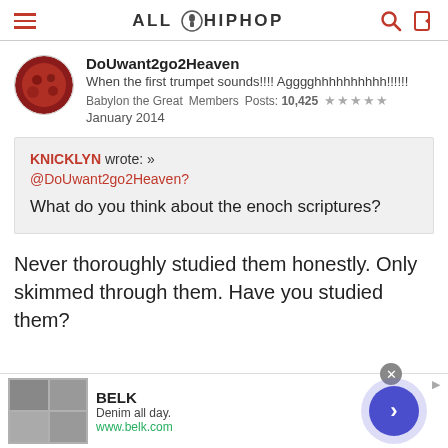ALL HIPHOP
DoUwant2go2Heaven
When the first trumpet sounds!!!! Agggghhhhhhhhhh!!!!!!
Babylon the Great  Members  Posts: 10,425  ★★★★★
January 2014
KNICKLYN wrote: »
@DoUwant2go2Heaven?

What do you think about the enoch scriptures?
Never thoroughly studied them honestly. Only skimmed through them. Have you studied them?